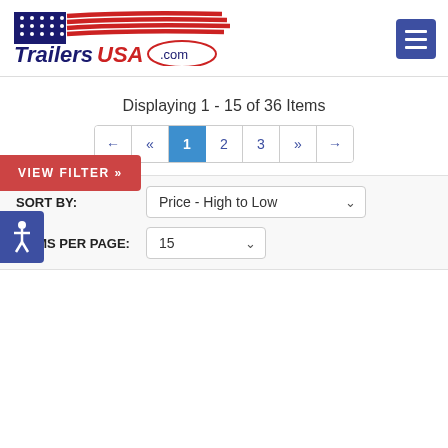TrailersUSA.com
VIEW FILTER »
Displaying 1 - 15 of 36 Items
Pagination: ← « 1 2 3 » →
SORT BY: Price - High to Low
ITEMS PER PAGE: 15
[Figure (photo): Partial view of a trailer against a sky background]